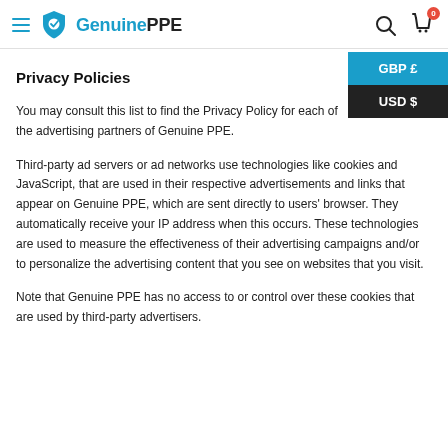Genuine PPE
Privacy Policies
You may consult this list to find the Privacy Policy for each of the advertising partners of Genuine PPE.
Third-party ad servers or ad networks use technologies like cookies and JavaScript, that are used in their respective advertisements and links that appear on Genuine PPE, which are sent directly to users' browser. They automatically receive your IP address when this occurs. These technologies are used to measure the effectiveness of their advertising campaigns and/or to personalize the advertising content that you see on websites that you visit.
Note that Genuine PPE has no access to or control over these cookies that are used by third-party advertisers.